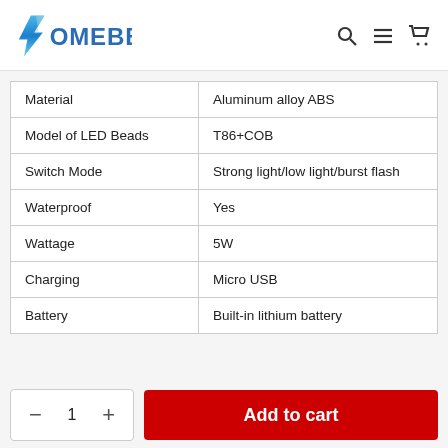HOMEBBC
| Property | Value |
| --- | --- |
| Material | Aluminum alloy ABS |
| Model of LED Beads | T86+COB |
| Switch Mode | Strong light/low light/burst flash |
| Waterproof | Yes |
| Wattage | 5W |
| Charging | Micro USB |
| Battery | Built-in lithium battery |
- 1 + Add to cart